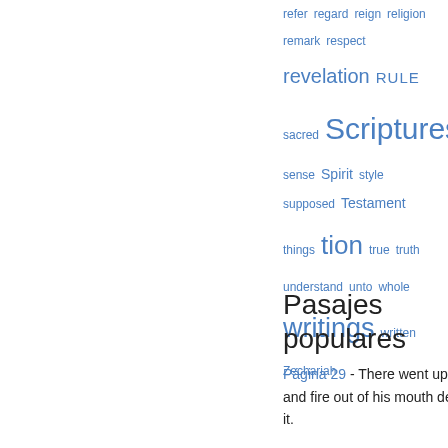refer  regard  reign  religion  remark  respect  revelation  RULE  sacred  Scriptures  sense  Spirit  style  supposed  Testament  things  tion  true  truth  understand  unto  whole  writings  written  Zechariah
Pasajes populares
Página 29 - There went up a smoke out of his nostrils, and fire out of his mouth devoured ; coals were kindled by it.